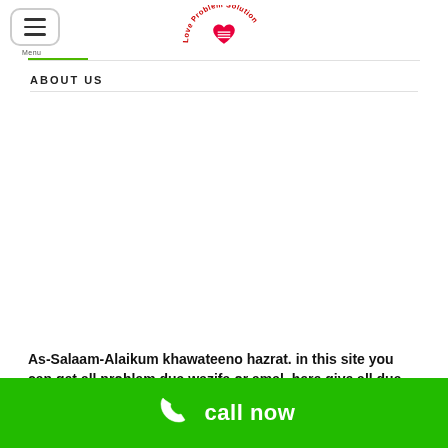[Figure (logo): Love Problem Solution logo with heart and text in red/green arc]
ABOUT US
As-Salaam-Alaikum khawateeno hazrat. in this site you can get all problem dua wazifa or amal, here give all dua wazifa or amal,
[Figure (other): Call now button bar with phone icon and green background]